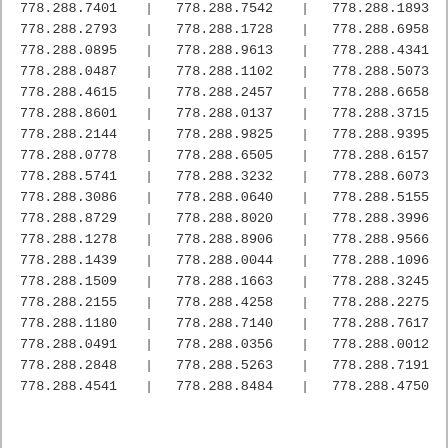| col1 | col2 | col3 |
| --- | --- | --- |
| 778.288.7401 | 778.288.7542 | 778.288.1893 |
| 778.288.2793 | 778.288.1728 | 778.288.6958 |
| 778.288.0895 | 778.288.9613 | 778.288.4341 |
| 778.288.0487 | 778.288.1102 | 778.288.5073 |
| 778.288.4615 | 778.288.2457 | 778.288.6658 |
| 778.288.8601 | 778.288.0137 | 778.288.3715 |
| 778.288.2144 | 778.288.9825 | 778.288.9395 |
| 778.288.0778 | 778.288.6505 | 778.288.6157 |
| 778.288.5741 | 778.288.3232 | 778.288.6073 |
| 778.288.3086 | 778.288.0640 | 778.288.5155 |
| 778.288.8729 | 778.288.8020 | 778.288.3996 |
| 778.288.1278 | 778.288.8906 | 778.288.9566 |
| 778.288.1439 | 778.288.0044 | 778.288.1096 |
| 778.288.1509 | 778.288.1663 | 778.288.3245 |
| 778.288.2155 | 778.288.4258 | 778.288.2275 |
| 778.288.1180 | 778.288.7140 | 778.288.7617 |
| 778.288.0491 | 778.288.0356 | 778.288.0012 |
| 778.288.2848 | 778.288.5263 | 778.288.7191 |
| 778.288.4541 | 778.288.8484 | 778.288.4750 |